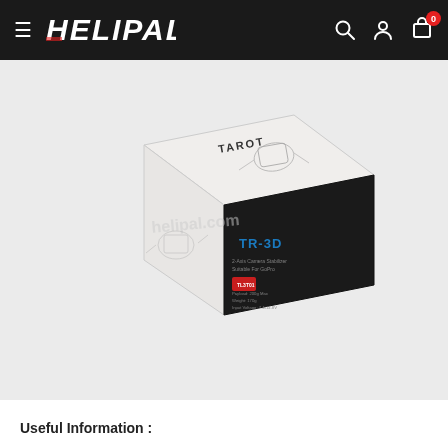HELIPAL
[Figure (photo): A product box for a Tarot drone gimbal or camera mount accessory. The box is white and black with 'TAROT' branding printed on top and technical drawings of the product. Blue 'TR-3D' branding visible on the front of the box.]
Useful Information :